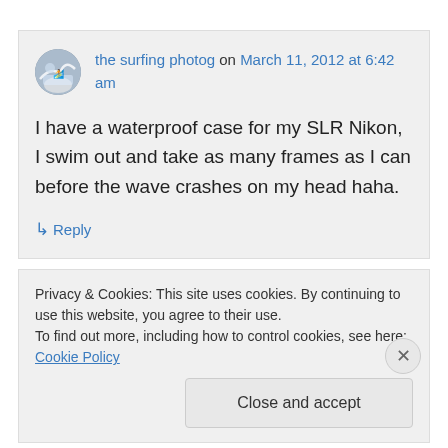[Figure (photo): Avatar photo of 'the surfing photog' — circular profile image showing a beach/surfing scene]
the surfing photog on March 11, 2012 at 6:42 am
I have a waterproof case for my SLR Nikon, I swim out and take as many frames as I can before the wave crashes on my head haha.
↳ Reply
Privacy & Cookies: This site uses cookies. By continuing to use this website, you agree to their use.
To find out more, including how to control cookies, see here: Cookie Policy
Close and accept